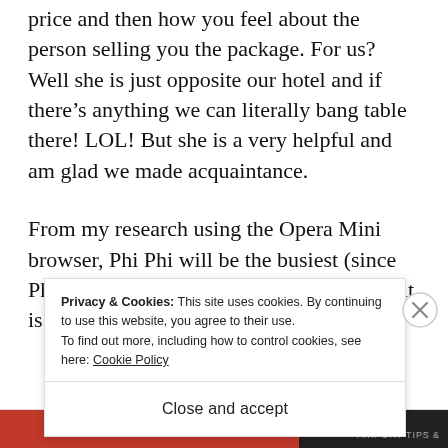price and then how you feel about the person selling you the package. For us? Well she is just opposite our hotel and if there's anything we can literally bang table there! LOL! But she is a very helpful and am glad we made acquaintance.
From my research using the Opera Mini browser, Phi Phi will be the busiest (since Phuket island tours include it too and also it is far), James B...
Privacy & Cookies: This site uses cookies. By continuing to use this website, you agree to their use.
To find out more, including how to control cookies, see here: Cookie Policy
Close and accept